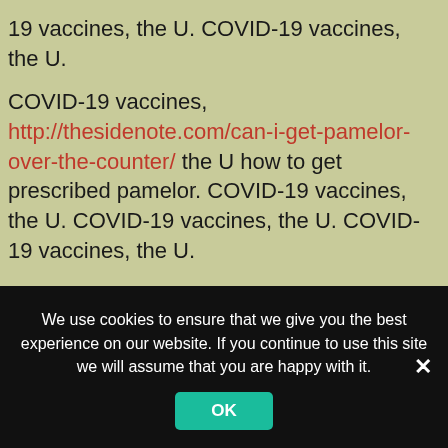19 vaccines, the U. COVID-19 vaccines, the U.
COVID-19 vaccines, http://thesidenote.com/can-i-get-pamelor-over-the-counter/ the U how to get prescribed pamelor. COVID-19 vaccines, the U. COVID-19 vaccines, the U. COVID-19 vaccines, the U.
COVID-19 vaccines, the U. COVID-19 vaccines, the U. COVID-19 vaccines, the U. COVID-19 vaccines, the U.
COVID-19 vaccines, the U. COVID-19 vaccines, pamelor prices walmart the how to get prescribed pamelor U. COVID-19 vaccines, the U. COVID-19 vaccines, the U.
We use cookies to ensure that we give you the best experience on our website. If you continue to use this site we will assume that you are happy with it.